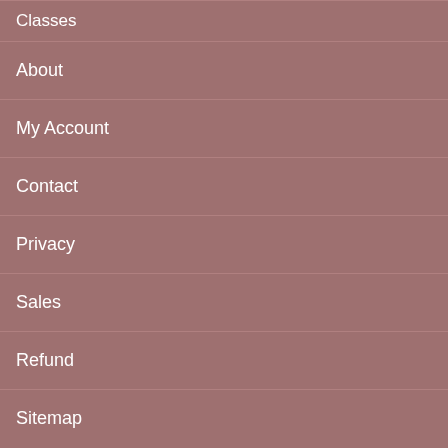Classes
About
My Account
Contact
Privacy
Sales
Refund
Sitemap
You are shopping on Alexander's Aesthetics (California & Western US)
Change to Alexander's Aesthetics II (Colorado & Eastern US)